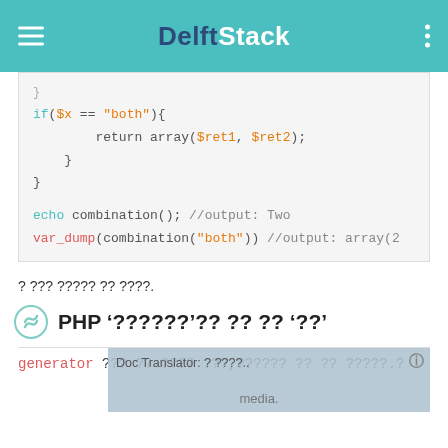DelftStack
[Figure (screenshot): Code block showing PHP code with if($x == "both"){ return array($ret1, $ret2); } } echo combination(); //output: Two var_dump(combination("both")) //output: array(2]
? ??? ????? ?? ????.
PHP '??????'?? ?? ?? '??'
generator ??? ?? ???? ???,?????? ?? ?? ?????.? media.